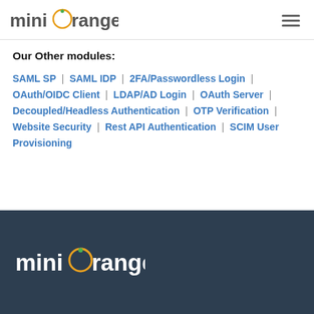miniOrange
Our Other modules:
SAML SP | SAML IDP | 2FA/Passwordless Login | OAuth/OIDC Client | LDAP/AD Login | OAuth Server | Decoupled/Headless Authentication | OTP Verification | Website Security | Rest API Authentication | SCIM User Provisioning
[Figure (logo): miniOrange logo in white on dark blue footer background]